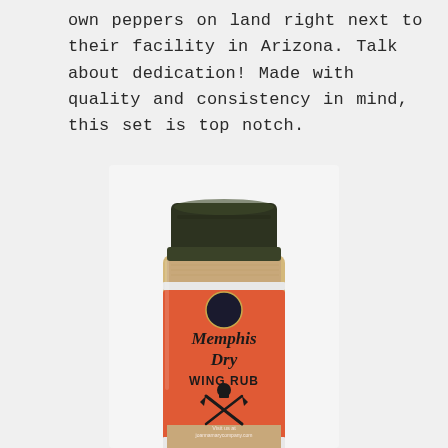own peppers on land right next to their facility in Arizona. Talk about dedication! Made with quality and consistency in mind, this set is top notch.
[Figure (photo): A spice jar with a black lid, containing spice mixture visible at top and bottom. The jar has an orange label reading 'Memphis Dry WING RUB' with a crescent moon logo at the top of the label and crossed chef's knife and cleaver icon below the text. Small text at bottom of label reads 'Visit us at joannamarycompany.com'.]